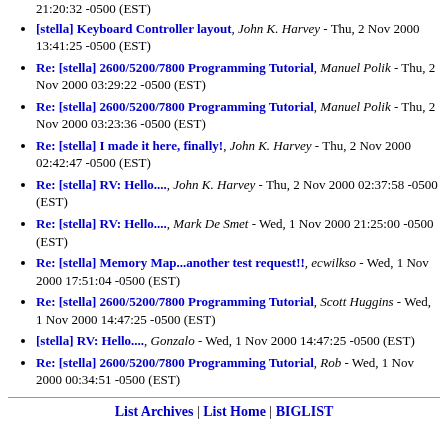21:20:32 -0500 (EST)
[stella] Keyboard Controller layout, John K. Harvey - Thu, 2 Nov 2000 13:41:25 -0500 (EST)
Re: [stella] 2600/5200/7800 Programming Tutorial, Manuel Polik - Thu, 2 Nov 2000 03:29:22 -0500 (EST)
Re: [stella] 2600/5200/7800 Programming Tutorial, Manuel Polik - Thu, 2 Nov 2000 03:23:36 -0500 (EST)
Re: [stella] I made it here, finally!, John K. Harvey - Thu, 2 Nov 2000 02:42:47 -0500 (EST)
Re: [stella] RV: Hello...., John K. Harvey - Thu, 2 Nov 2000 02:37:58 -0500 (EST)
Re: [stella] RV: Hello...., Mark De Smet - Wed, 1 Nov 2000 21:25:00 -0500 (EST)
Re: [stella] Memory Map...another test request!!, ecwilkso - Wed, 1 Nov 2000 17:51:04 -0500 (EST)
Re: [stella] 2600/5200/7800 Programming Tutorial, Scott Huggins - Wed, 1 Nov 2000 14:47:25 -0500 (EST)
[stella] RV: Hello...., Gonzalo - Wed, 1 Nov 2000 14:47:25 -0500 (EST)
Re: [stella] 2600/5200/7800 Programming Tutorial, Rob - Wed, 1 Nov 2000 00:34:51 -0500 (EST)
List Archives | List Home | BIGLIST